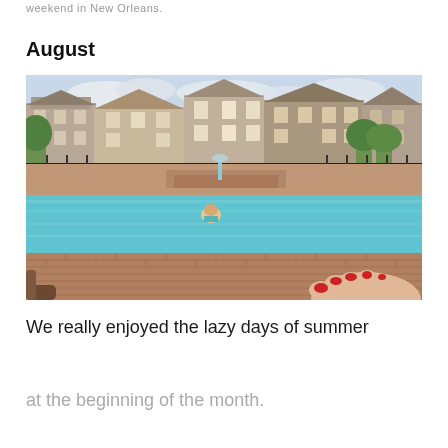weekend in New Orleans.
August
[Figure (photo): Outdoor swimming pool at an apartment complex with brick paver surrounding, a child swimming in the pool, residential buildings in the background, and a person's feet with red toenail polish visible in the foreground lounging on a chair.]
We really enjoyed the lazy days of summer
at the beginning of the month.